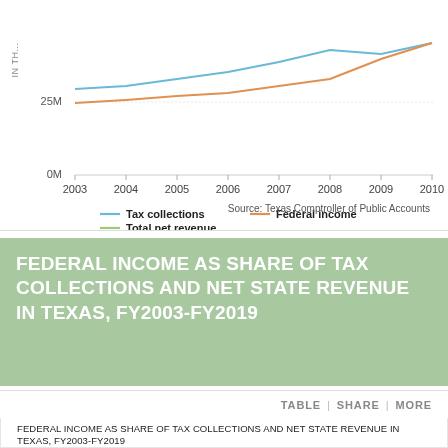[Figure (line-chart): Federal Income as Share of Tax Collections and Net State Revenue in Texas, FY2003-FY2010]
Source: Texas Comptroller of Public Accounts
FEDERAL INCOME AS SHARE OF TAX COLLECTIONS AND NET STATE REVENUE IN TEXAS, FY2003-FY2019
TABLE | SHARE | MORE
FEDERAL INCOME AS SHARE OF TAX COLLECTIONS AND NET STATE REVENUE IN TEXAS, FY2003-FY2019
125